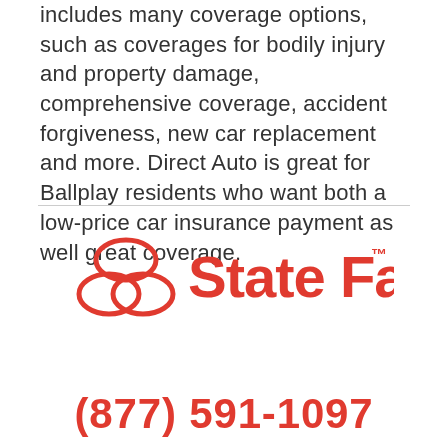includes many coverage options, such as coverages for bodily injury and property damage, comprehensive coverage, accident forgiveness, new car replacement and more. Direct Auto is great for Ballplay residents who want both a low-price car insurance payment as well great coverage.
[Figure (logo): State Farm logo in red — three overlapping ovals icon on the left and 'State Farm' text with TM mark on the right]
(877) 591-1097